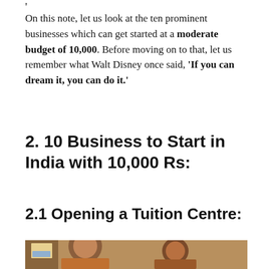On this note, let us look at the ten prominent businesses which can get started at a moderate budget of 10,000. Before moving on to that, let us remember what Walt Disney once said, ‘If you can dream it, you can do it.’
2. 10 Business to Start in India with 10,000 Rs:
2.1 Opening a Tuition Centre:
[Figure (photo): Photo of a teacher and student at a tuition centre, partially visible at the bottom of the page]